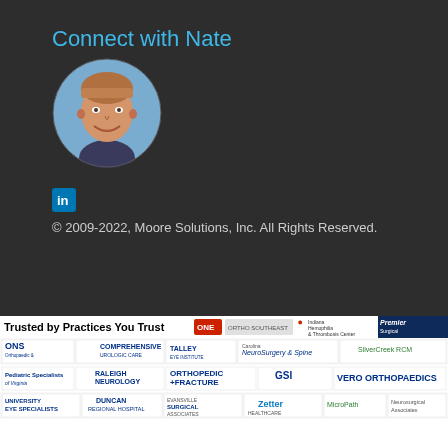Connect with Nate
[Figure (photo): Circular profile photo of a smiling man with short brown hair against a blue background]
[Figure (logo): LinkedIn icon (blue square with 'in')]
© 2009-2022, Moore Solutions, Inc. All Rights Reserved.
[Figure (infographic): Trusted by Practices You Trust banner with multiple medical practice logos including ONS, Comprehensive Urologic Care, Talley Eye Institute, Carolina NeuroSurgery & Spine, SilverCreek RCM, Pediatric Specialists of Virginia, Raleigh Neurology Associates, Orthopedic & Fracture Specialists, GSI, Vero Orthopaedics, University Eye Specialists, Duncan Regional Hospital, Evansville Surgical Associates, Zetter Healthcare, MicroPath Laboratories, Neurosurgical Associates, ONE, Ortho Southeast, Indiana Hemophilia & Thrombosis Center, Premier Surgical]